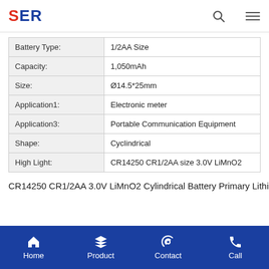SER
| Field | Value |
| --- | --- |
| Battery Type: | 1/2AA Size |
| Capacity: | 1,050mAh |
| Size: | Ø14.5*25mm |
| Application1: | Electronic meter |
| Application3: | Portable Communication Equipment |
| Shape: | Cyclindrical |
| High Light: | CR14250 CR1/2AA size 3.0V LiMnO2 |
CR14250 CR1/2AA 3.0V LiMnO2 Cylindrical Battery Primary Lithium
Home  Product  Contact  Call